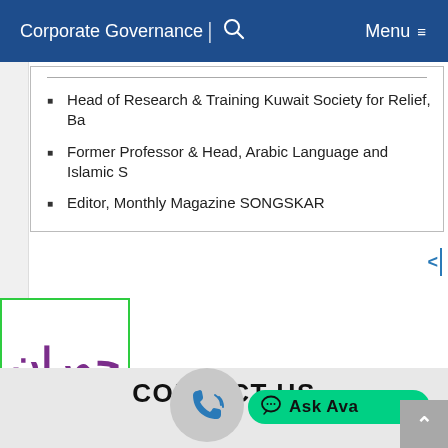Corporate Governance | Menu
Head of Research & Training Kuwait Society for Relief, Ba
Former Professor & Head, Arabic Language and Islamic S
Editor, Monthly Magazine SONGSKAR
[Figure (logo): Purple and green Arabic/Urdu script logo with green border]
CONTACT US
[Figure (illustration): Phone/contact icon in grey circle, and Ask Ava green chat button]